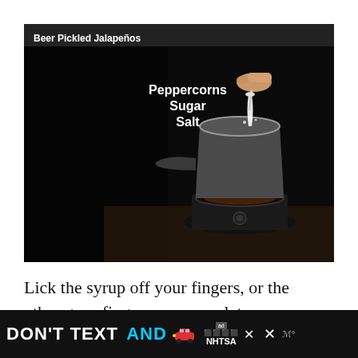Beer Pickled Jalapeños
[Figure (photo): A hand pouring an ingredient (sugar or salt) from a spoon into a metal saucepan on a small portable electric burner/hot plate. The image is dark with dramatic lighting. Text overlay reads 'Peppercorns Sugar Salt' in bold white.]
Lick the syrup off your fingers, or the other guys fingers, or your plate.
DON'T TEXT AND [car emoji] ad NHTSA ×  × ᵒ